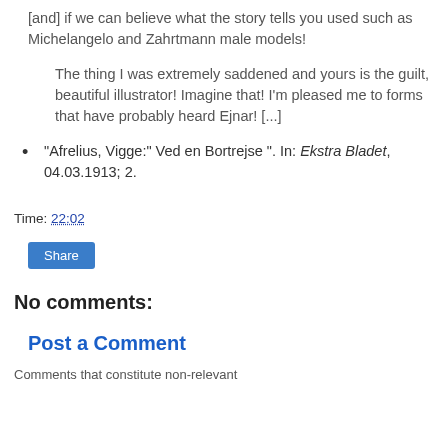[and] if we can believe what the story tells you used such as Michelangelo and Zahrtmann male models!
The thing I was extremely saddened and yours is the guilt, beautiful illustrator! Imagine that! I'm pleased me to forms that have probably heard Ejnar! [...]
"Afrelius, Vigge:" Ved en Bortrejse ". In: Ekstra Bladet, 04.03.1913; 2.
Time: 22:02
Share
No comments:
Post a Comment
Comments that constitute non-relevant